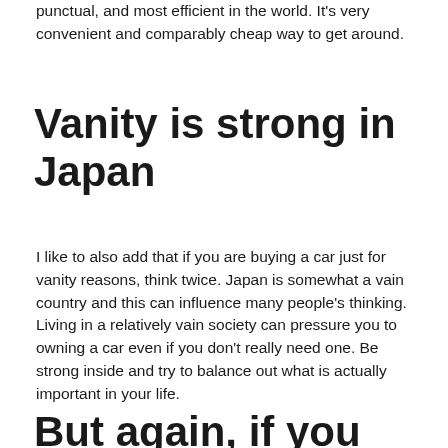punctual, and most efficient in the world. It's very convenient and comparably cheap way to get around.
Vanity is strong in Japan
I like to also add that if you are buying a car just for vanity reasons, think twice. Japan is somewhat a vain country and this can influence many people's thinking. Living in a relatively vain society can pressure you to owning a car even if you don't really need one. Be strong inside and try to balance out what is actually important in your life.
But again, if you really